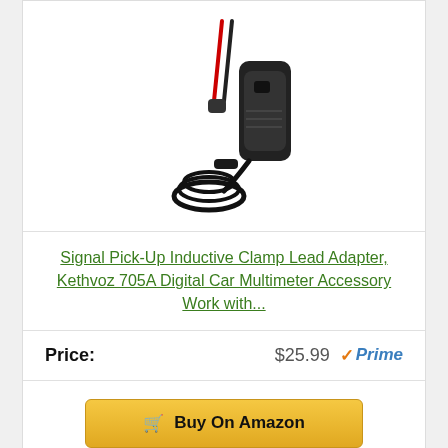[Figure (photo): Product photo of a Signal Pick-Up Inductive Clamp Lead Adapter on white background, showing a black handheld clamp device with red and black wires coiled at the bottom.]
Signal Pick-Up Inductive Clamp Lead Adapter, Kethvoz 705A Digital Car Multimeter Accessory Work with...
Price: $25.99 Prime
Buy On Amazon
Bestseller No. 8